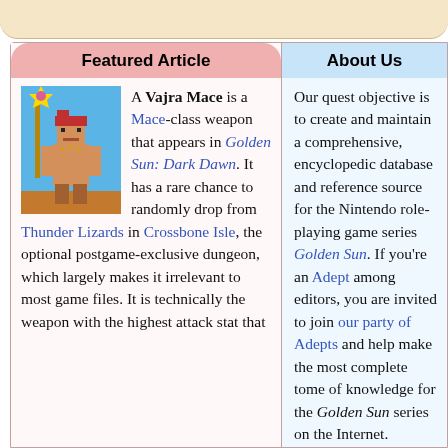Featured Article
[Figure (illustration): Pixel art of a character holding a staff with a star-shaped golden weapon, wearing red headband, set against a blue sky background]
A Vajra Mace is a Mace-class weapon that appears in Golden Sun: Dark Dawn. It has a rare chance to randomly drop from Thunder Lizards in Crossbone Isle, the optional postgame-exclusive dungeon, which largely makes it irrelevant to most game files. It is technically the weapon with the highest attack stat that
About Us
Our quest objective is to create and maintain a comprehensive, encyclopedic database and reference source for the Nintendo role-playing game series Golden Sun. If you're an Adept among editors, you are invited to join our party of Adepts and help make the most complete tome of knowledge for the Golden Sun series on the Internet.